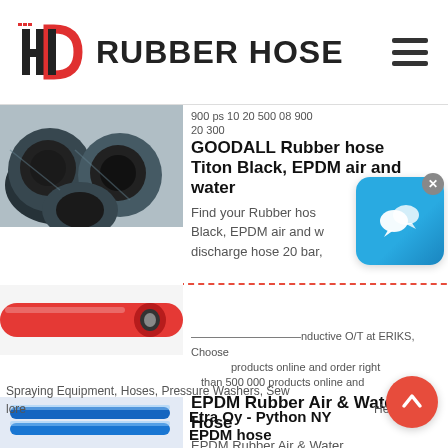[Figure (logo): HD Rubber Hose logo with red and black HD monogram and hamburger menu icon]
[Figure (photo): Three black rubber hoses shown from the end, displaying their cross-section]
GOODALL Rubber hose Titon Black, EPDM air and water
Find your Rubber hose Black, EPDM air and water discharge hose 20 bar,
completely electrically non-conductive O/T at ERIKS. Choose products online and order right than 500,000 products online and
[Figure (photo): Red rubber air and water hose with cut-away showing internal structure]
EPDM Rubber Air & Water Hose
EPDM Rubber Air & Water Hose Low Prices Fast Shipping! SINCE 1991 Ag Spraying Equipment, Hoses, Pressure Washers, Sew
[Figure (photo): Blue EPDM rubber hoses shown as product image]
Etra Oy - Python NY EPDM hose
lore Help